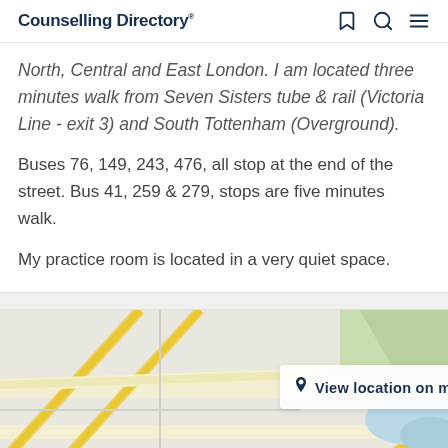Counselling Directory
North, Central and East London. I am located three minutes walk from Seven Sisters tube & rail (Victoria Line - exit 3) and South Tottenham (Overground).
Buses 76, 149, 243, 476, all stop at the end of the street. Bus 41, 259 & 279, stops are five minutes walk.
My practice room is located in a very quiet space.
[Figure (map): Street map showing location area with a 'View location on map' button overlay]